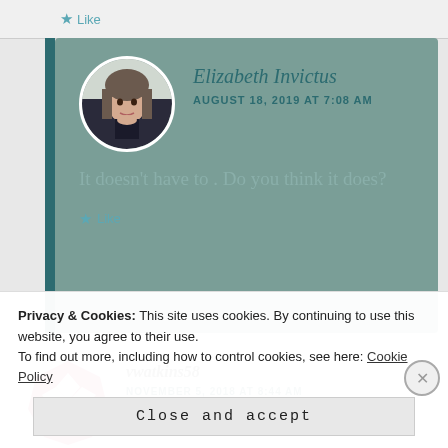Like
Elizabeth Invictus
AUGUST 18, 2019 AT 7:08 AM
It doesn't have to . Do you think it does?
Like
vwatkins58
NOVEMBER 5, 2018 AT 8:44 AM
Privacy & Cookies: This site uses cookies. By continuing to use this website, you agree to their use.
To find out more, including how to control cookies, see here: Cookie Policy
Close and accept